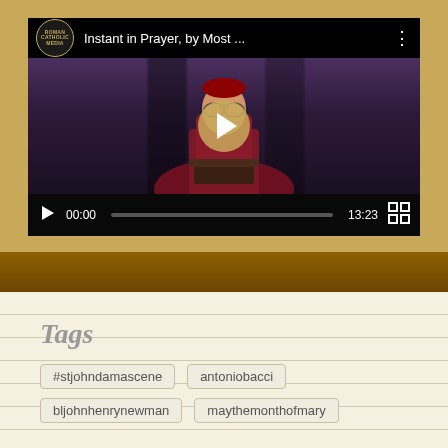[Figure (screenshot): Video player showing 'Instant in Prayer, by Most...' with Roman Catholic Media logo, clergy figure in dark robe, play button overlay, progress bar at 00:00, duration 13:23, fullscreen button]
Tags
#stjohndamascene
antoniobacci
bljohnhenrynewman
maythemonthofmary